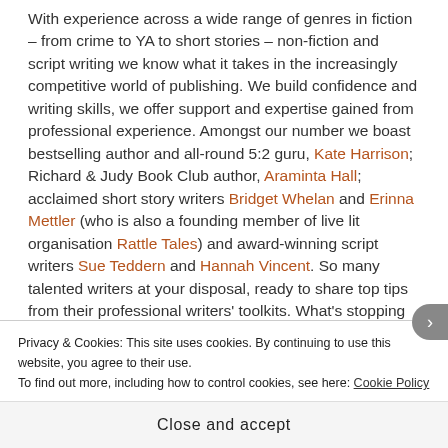With experience across a wide range of genres in fiction – from crime to YA to short stories – non-fiction and script writing we know what it takes in the increasingly competitive world of publishing. We build confidence and writing skills, we offer support and expertise gained from professional experience. Amongst our number we boast bestselling author and all-round 5:2 guru, Kate Harrison; Richard & Judy Book Club author, Araminta Hall; acclaimed short story writers Bridget Whelan and Erinna Mettler (who is also a founding member of live lit organisation Rattle Tales) and award-winning script writers Sue Teddern and Hannah Vincent. So many talented writers at your disposal, ready to share top tips from their professional writers' toolkits. What's stopping
Privacy & Cookies: This site uses cookies. By continuing to use this website, you agree to their use.
To find out more, including how to control cookies, see here: Cookie Policy
Close and accept